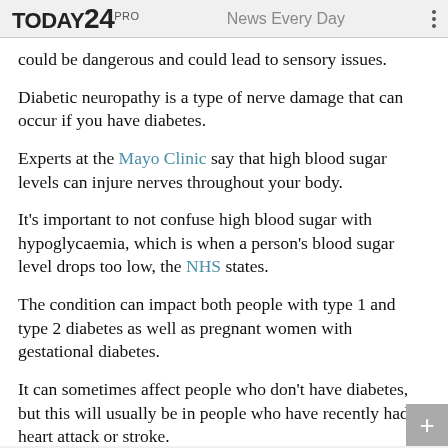TODAY24 PRO — News Every Day
could be dangerous and could lead to sensory issues.
Diabetic neuropathy is a type of nerve damage that can occur if you have diabetes.
Experts at the Mayo Clinic say that high blood sugar levels can injure nerves throughout your body.
It's important to not confuse high blood sugar with hypoglycaemia, which is when a person's blood sugar level drops too low, the NHS states.
The condition can impact both people with type 1 and type 2 diabetes as well as pregnant women with gestational diabetes.
It can sometimes affect people who don't have diabetes, but this will usually be in people who have recently had a heart attack or stroke.